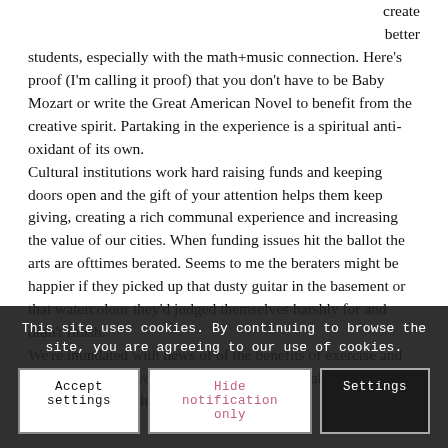create better students, especially with the math+music connection. Here's proof (I'm calling it proof) that you don't have to be Baby Mozart or write the Great American Novel to benefit from the creative spirit. Partaking in the experience is a spiritual anti-oxidant of its own.
Cultural institutions work hard raising funds and keeping doors open and the gift of your attention helps them keep giving, creating a rich communal experience and increasing the value of our cities. When funding issues hit the ballot the arts are ofttimes berated. Seems to me the beraters might be happier if they picked up that dusty guitar in the basement or that watercolour they'd judged themselves harshly for and didn't finish.
We're inundated with news of of the benefits of exercise and healthful eating, we would be well served to take heed of our need for arts & culture as well.
This site uses cookies. By continuing to browse the site, you are agreeing to our use of cookies.